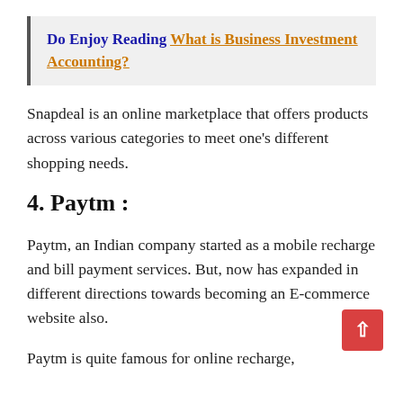Do Enjoy Reading  What is Business Investment Accounting?
Snapdeal is an online marketplace that offers products across various categories to meet one's different shopping needs.
4. Paytm :
Paytm, an Indian company started as a mobile recharge and bill payment services. But, now has expanded in different directions towards becoming an E-commerce website also.
Paytm is quite famous for online recharge,